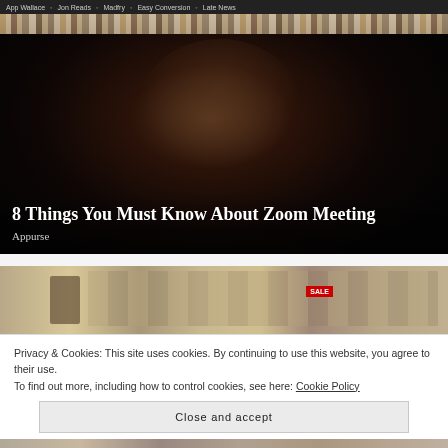App Wallace  Jon Reads  Madfry  Easy Conversion  Late News
[Figure (photo): Woman smiling in front of bookshelves, video call / tutorial context]
8 Things You Must Know About Zoom Meeting
Appurse
[Figure (photo): Store aisle with merchandise and SALE sign]
Privacy & Cookies: This site uses cookies. By continuing to use this website, you agree to their use.
To find out more, including how to control cookies, see here: Cookie Policy
Close and accept
[Figure (photo): Partial view of another image at the bottom of the page]